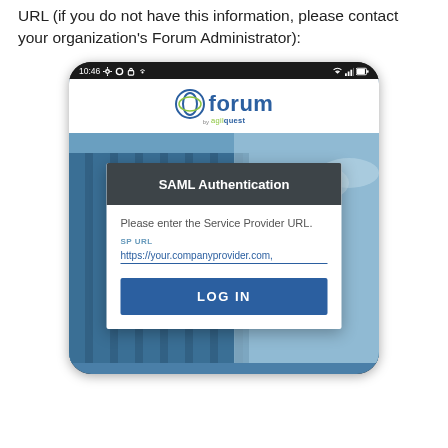URL (if you do not have this information, please contact your organization's Forum Administrator):
[Figure (screenshot): Mobile phone screenshot showing the Forum by AgilQuest app SAML Authentication screen. The screen displays a white logo bar at top with the Forum by AgilQuest logo, then a building background with a modal dialog. The modal has a dark header reading 'SAML Authentication', a body with text 'Please enter the Service Provider URL.', a field labeled 'SP URL' with placeholder 'https://your.companyprovider.com,', and a blue 'LOG IN' button.]